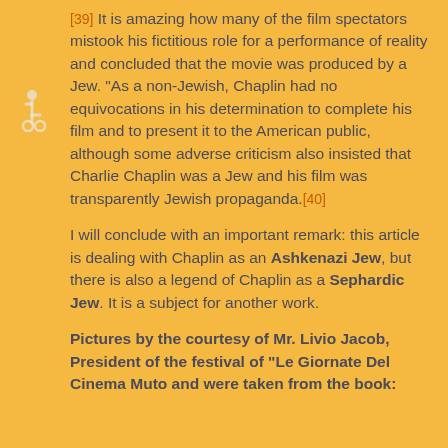[39] It is amazing how many of the film spectators mistook his fictitious role for a performance of reality and concluded that the movie was produced by a Jew. "As a non-Jewish, Chaplin had no equivocations in his determination to complete his film and to present it to the American public, although some adverse criticism also insisted that Charlie Chaplin was a Jew and his film was transparently Jewish propaganda.[40]
I will conclude with an important remark: this article is dealing with Chaplin as an Ashkenazi Jew, but there is also a legend of Chaplin as a Sephardic Jew. It is a subject for another work.
Pictures by the courtesy of Mr. Livio Jacob, President of the festival of “Le Giornate Del Cinema Muto and were taken from the book: